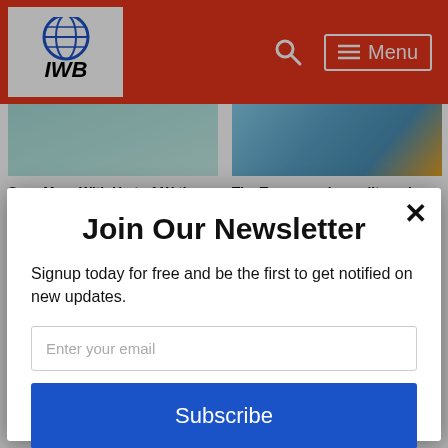IWB — Menu navigation bar with search icon
[Figure (screenshot): Article thumbnail: teal/mint colored image (face mask or similar)]
Save More With Up to 11X the Average APY. Compare Accounts.
NerdWallet
[Figure (screenshot): Article thumbnail: blue sky with credit card image]
The Top rewards credit cards for 2022, Choose The Right Card For You.
Credit Rewards | Search Ads
Join Our Newsletter
Signup today for free and be the first to get notified on new updates.
Enter your email
Subscribe
powered by MailMunch